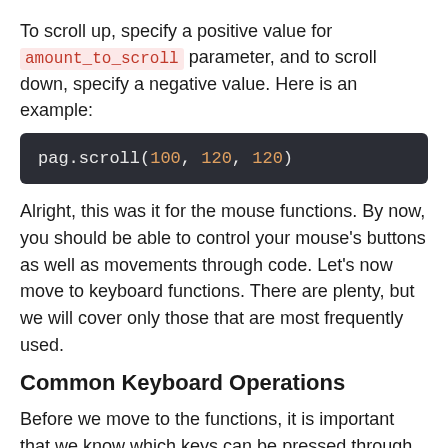To scroll up, specify a positive value for amount_to_scroll parameter, and to scroll down, specify a negative value. Here is an example:
pag.scroll(100, 120, 120)
Alright, this was it for the mouse functions. By now, you should be able to control your mouse's buttons as well as movements through code. Let's now move to keyboard functions. There are plenty, but we will cover only those that are most frequently used.
Common Keyboard Operations
Before we move to the functions, it is important that we know which keys can be pressed through code in